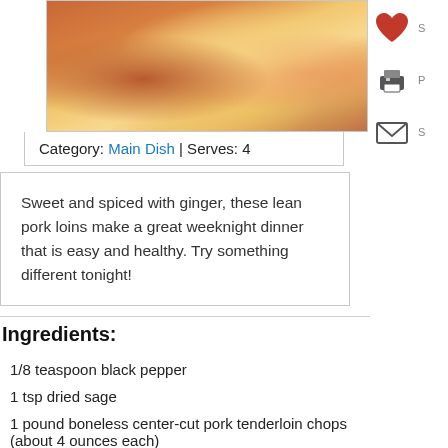[Figure (photo): Close-up photo of pork tenderloin chops with apples, orange-golden tones]
Category: Main Dish | Serves: 4
Sweet and spiced with ginger, these lean pork loins make a great weeknight dinner that is easy and healthy. Try something different tonight!
Ingredients:
1/8 teaspoon black pepper
1 tsp dried sage
1 pound boneless center-cut pork tenderloin chops (about 4 ounces each)
1 teaspoon olive oil
1/3 cup apricot-pineapple jam
1/3 cup sweet white wine
1 tsp fresh minced ginger
Directions: